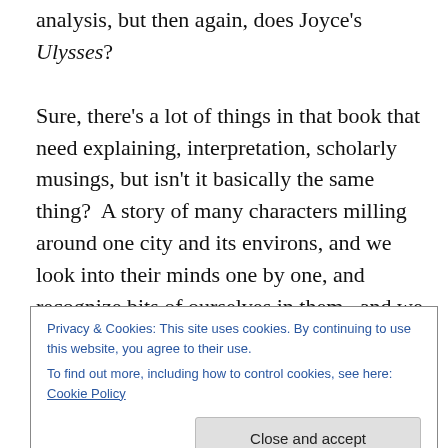analysis, but then again, does Joyce's Ulysses?

Sure, there's a lot of things in that book that need explaining, interpretation, scholarly musings, but isn't it basically the same thing?  A story of many characters milling around one city and its environs, and we look into their minds one by one, and recognize bits of ourselves in them,  and we realize what a complex organism a city can be, and how many stories unfold daily within it, and within each person within it.   This is simpler, more readable, less ambitious perhaps, but am I reaching here?  In fact,
Privacy & Cookies: This site uses cookies. By continuing to use this website, you agree to their use.
To find out more, including how to control cookies, see here: Cookie Policy
how they say yes or no to it, how they balance their